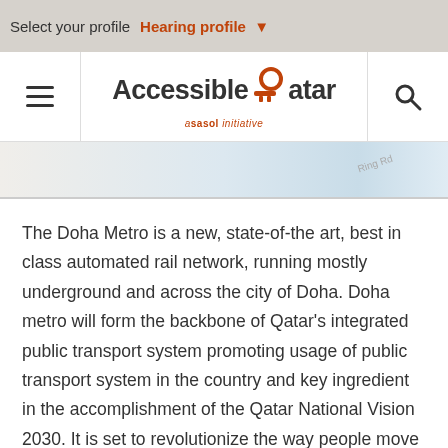Select your profile   Hearing profile ▼
[Figure (logo): Accessible Qatar logo — a key icon integrated into the word 'Qatar', with 'a sasol initiative' subtitle in orange italic text. Hamburger menu icon on left, search icon on right.]
[Figure (map): Partial map background showing road labels, light blue and cream colors.]
The Doha Metro is a new, state-of-the art, best in class automated rail network, running mostly underground and across the city of Doha. Doha metro will form the backbone of Qatar's integrated public transport system promoting usage of public transport system in the country and key ingredient in the accomplishment of the Qatar National Vision 2030. It is set to revolutionize the way people move around Doha and its suburbs. It will serve most of